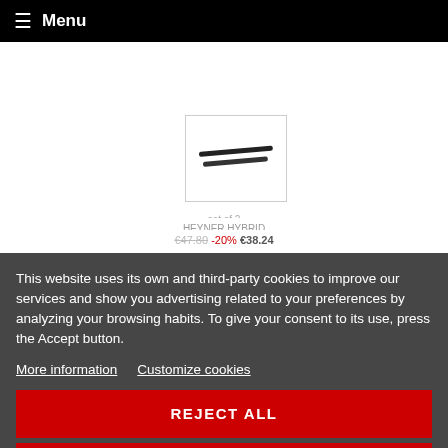≡ Menu
[Figure (photo): Product thumbnail showing two black wiper blades on a white background]
This website uses its own and third-party cookies to improve our services and show you advertising related to your preferences by analyzing your browsing habits. To give your consent to its use, press the Accept button.
More information
Customize cookies
REJECT ALL
I ACCEPT